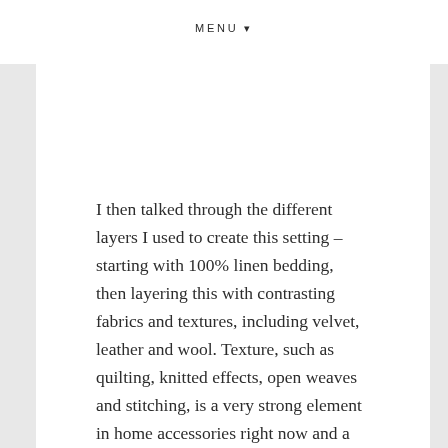MENU ▾
I then talked through the different layers I used to create this setting – starting with 100% linen bedding, then layering this with contrasting fabrics and textures, including velvet, leather and wool. Texture, such as quilting, knitted effects, open weaves and stitching, is a very strong element in home accessories right now and a beautiful way to add layers to a scheme. Moroccan influences are also coming through strongly in tassels, fringe detailing, tile patterns and embellished cushions.